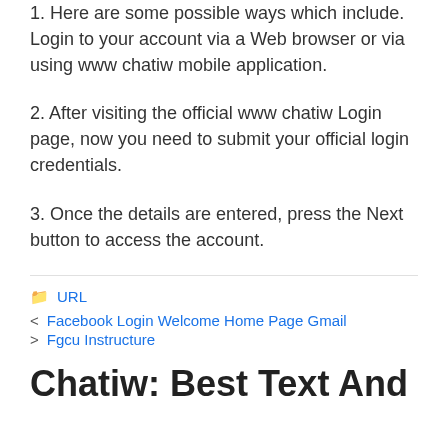1. Here are some possible ways which include. Login to your account via a Web browser or via using www chatiw mobile application.
2. After visiting the official www chatiw Login page, now you need to submit your official login credentials.
3. Once the details are entered, press the Next button to access the account.
URL
< Facebook Login Welcome Home Page Gmail
> Fgcu Instructure
Chatiw: Best Text And